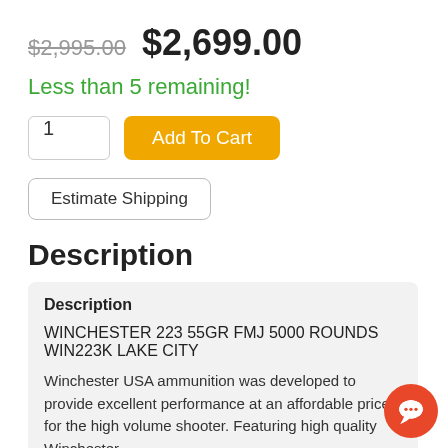$2,995.00  $2,699.00
Less than 5 remaining!
1  Add To Cart
Estimate Shipping
Description
Description
WINCHESTER 223 55GR FMJ 5000 ROUNDS  WIN223K LAKE CITY
Winchester USA ammunition was developed to provide excellent performance at an affordable price for the high volume shooter. Featuring high quality Winchester